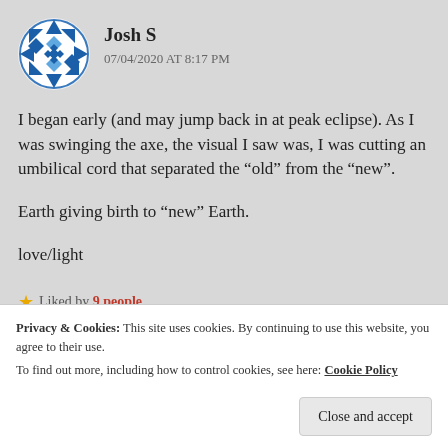[Figure (illustration): Blue and white geometric/quilt-pattern circular avatar icon for user Josh S]
Josh S
07/04/2020 AT 8:17 PM
I began early (and may jump back in at peak eclipse). As I was swinging the axe, the visual I saw was, I was cutting an umbilical cord that separated the “old” from the “new”.
Earth giving birth to “new” Earth.
love/light
Liked by 9 people
Privacy & Cookies: This site uses cookies. By continuing to use this website, you agree to their use.
To find out more, including how to control cookies, see here: Cookie Policy
Close and accept